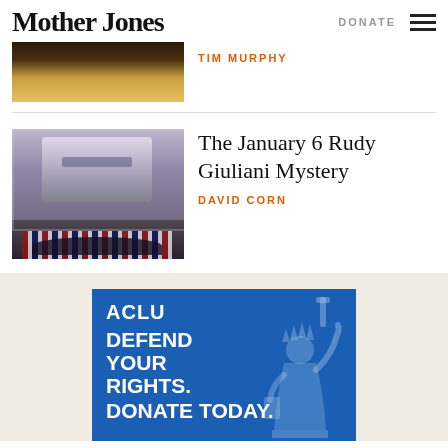Mother Jones | DONATE
TIM MURPHY
The January 6 Rudy Giuliani Mystery
DAVID CORN
[Figure (infographic): ACLU advertisement with blue background showing 'ACLU' logo, 'DEFEND YOUR RIGHTS. DONATE TODAY.' text and Statue of Liberty illustration]